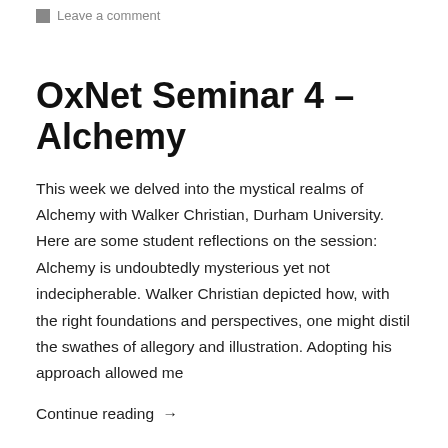Leave a comment
OxNet Seminar 4 – Alchemy
This week we delved into the mystical realms of Alchemy with Walker Christian, Durham University. Here are some student reflections on the session:   Alchemy is undoubtedly mysterious yet not indecipherable. Walker Christian depicted how, with the right foundations and perspectives, one might distil the swathes of allegory and illustration. Adopting his approach allowed me
Continue reading →